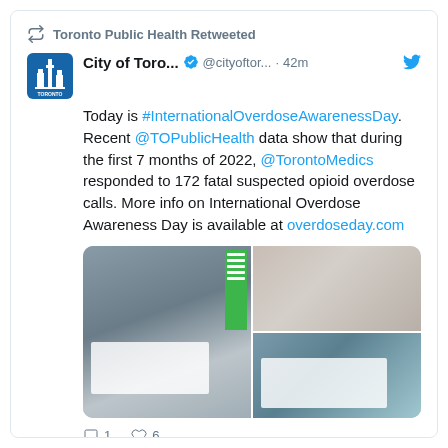Toronto Public Health Retweeted
City of Toro... @cityoftor... · 42m
Today is #InternationalOverdoseAwarenessDay. Recent @TOPublicHealth data show that during the first 7 months of 2022, @TorontoMedics responded to 172 fatal suspected opioid overdose calls. More info on International Overdose Awareness Day is available at overdoseday.com
[Figure (photo): Three photos of people holding white signs at an International Overdose Awareness Day event. Left photo shows a woman holding a sign reading about fatal suspected opioid overdose calls. Top right shows a woman holding a sign. Bottom right shows a person in sunglasses holding a sign.]
1  6